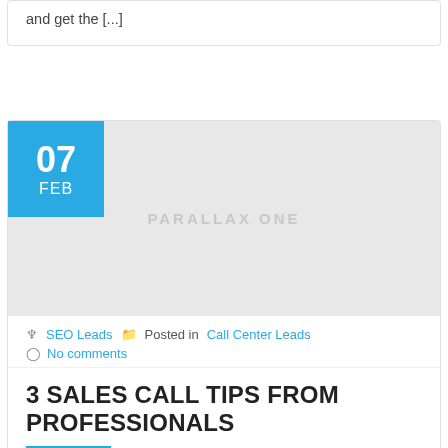and get the [...]
[Figure (other): Blog post thumbnail placeholder with PARALLAX ONE watermark and date badge showing 07 FEB in blue]
SEO Leads  Posted in  Call Center Leads
No comments
3 SALES CALL TIPS FROM PROFESSIONALS
Buying SEO leads offers significant advantages